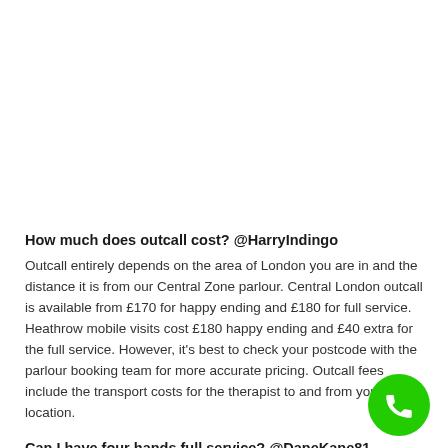How much does outcall cost? @HarryIndingo
Outcall entirely depends on the area of London you are in and the distance it is from our Central Zone parlour. Central London outcall is available from £170 for happy ending and £180 for full service. Heathrow mobile visits cost £180 happy ending and £40 extra for the full service. However, it's best to check your postcode with the parlour booking team for more accurate pricing. Outcall fees include the transport costs for the therapist to and from your location.
Can I have four hands full service? @DaneKane81
I recommend four hands full service for those who enjoy the full thrills
[Figure (other): Green circular phone/call button icon in the bottom right corner]